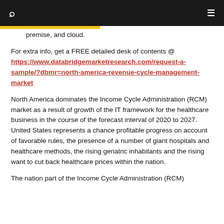🔍  ≡
premise, and cloud.
For extra info, get a FREE detailed desk of contents @ https://www.databridgemarketresearch.com/request-a-sample/?dbmr=north-america-revenue-cycle-management-market
North America dominates the Income Cycle Administration (RCM) market as a result of growth of the IT framework for the healthcare business in the course of the forecast interval of 2020 to 2027. United States represents a chance profitable progress on account of favorable rules, the presence of a number of giant hospitals and healthcare methods, the rising geriatric inhabitants and the rising want to cut back healthcare prices within the nation.
The nation part of the Income Cycle Administration (RCM)